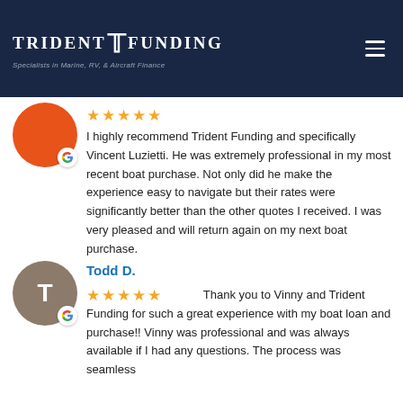[Figure (logo): Trident Funding logo with tagline 'Specialists in Marine, RV, & Aircraft Finance' on dark navy header bar]
I highly recommend Trident Funding and specifically Vincent Luzietti. He was extremely professional in my most recent boat purchase. Not only did he make the experience easy to navigate but their rates were significantly better than the other quotes I received. I was very pleased and will return again on my next boat purchase.
Todd D.
Thank you to Vinny and Trident Funding for such a great experience with my boat loan and purchase!! Vinny was professional and was always available if I had any questions. The process was seamless